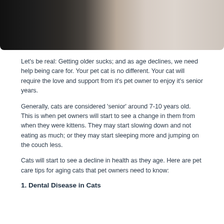[Figure (photo): Close-up photo of a black and white cat resting on a light beige/cream blanket or fabric, visible at top of page]
Let's be real: Getting older sucks; and as age declines, we need help being care for. Your pet cat is no different. Your cat will require the love and support from it's pet owner to enjoy it's senior years.
Generally, cats are considered 'senior' around 7-10 years old. This is when pet owners will start to see a change in them from when they were kittens. They may start slowing down and not eating as much; or they may start sleeping more and jumping on the couch less.
Cats will start to see a decline in health as they age. Here are pet care tips for aging cats that pet owners need to know:
1. Dental Disease in Cats